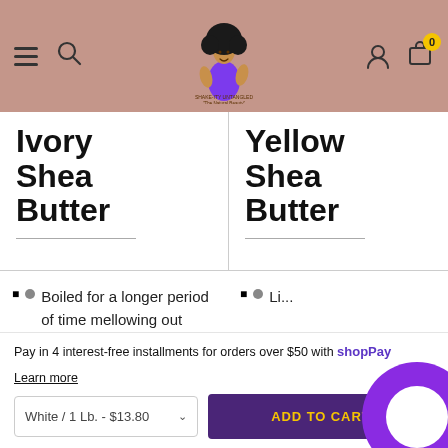Navigation header with hamburger menu, search icon, logo (woman with afro illustration), user icon, and cart icon with badge 0
Ivory Shea Butter
Yellow Shea Butter
Boiled for a longer period of time mellowing out color to more milder light.
Li... ab... the sk... extra
Ha... ta...
Pay in 4 interest-free installments for orders over $50 with shopPay
Learn more
White / 1 Lb. - $13.80
ADD TO CART